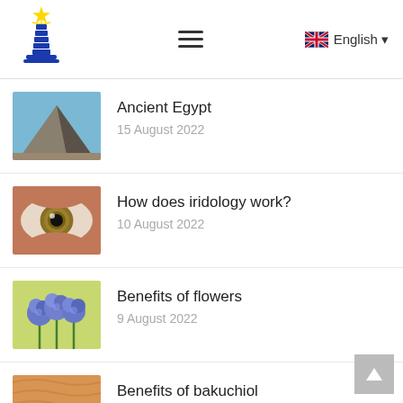[Figure (logo): Lighthouse logo with blue stripes, gold star on top]
English
Ancient Egypt
15 August 2022
How does iridology work?
10 August 2022
Benefits of flowers
9 August 2022
Benefits of bakuchiol
8 August 2022